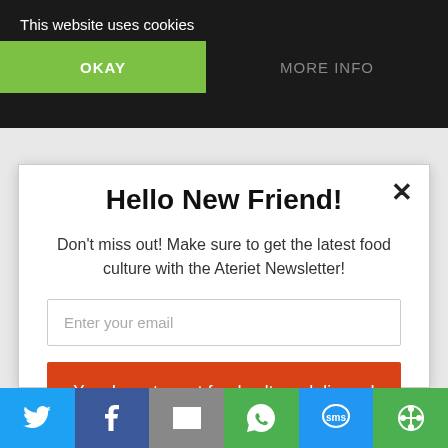This website uses cookies
OKAY
MORE INFO
Hello New Friend!
Don't miss out! Make sure to get the latest food culture with the Ateriet Newsletter!
Enter your email
Yes, I want great food culture delivered